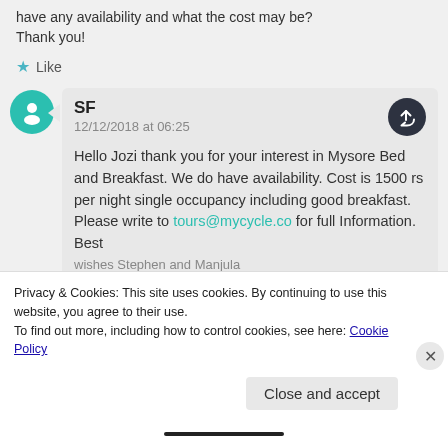have any availability and what the cost may be? Thank you!
★ Like
SF
12/12/2018 at 06:25
Hello Jozi thank you for your interest in Mysore Bed and Breakfast. We do have availability. Cost is 1500 rs per night single occupancy including good breakfast. Please write to tours@mycycle.co for full Information. Best
Privacy & Cookies: This site uses cookies. By continuing to use this website, you agree to their use.
To find out more, including how to control cookies, see here: Cookie Policy
Close and accept